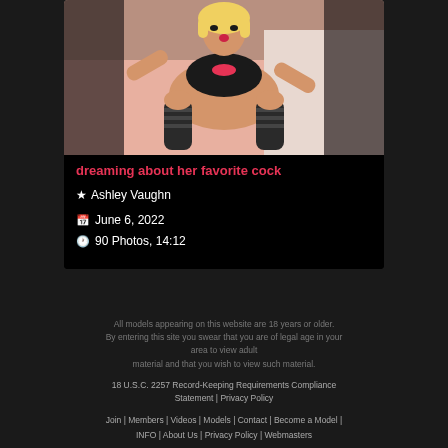[Figure (photo): Adult content thumbnail image showing a blonde female model in black and pink lingerie and stockings on a bed]
dreaming about her favorite cock
★ Ashley Vaughn
June 6, 2022
90 Photos, 14:12
All models appearing on this website are 18 years or older. By entering this site you swear that you are of legal age in your area to view adult material and that you wish to view such material.
18 U.S.C. 2257 Record-Keeping Requirements Compliance Statement | Privacy Policy
Join | Members | Videos | Models | Contact | Become a Model | INFO | About Us | Privacy Policy | Webmasters